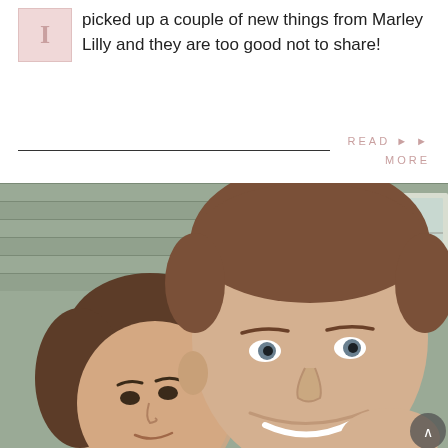picked up a couple of new things from Marley Lilly and they are too good not to share!
READ MORE
[Figure (photo): A selfie photo of two people (a woman and a man) smiling outdoors in front of a gray vinyl-sided house. The man is on the right, taller, with short brown hair. The woman is on the left, shorter, with dark hair pulled back.]